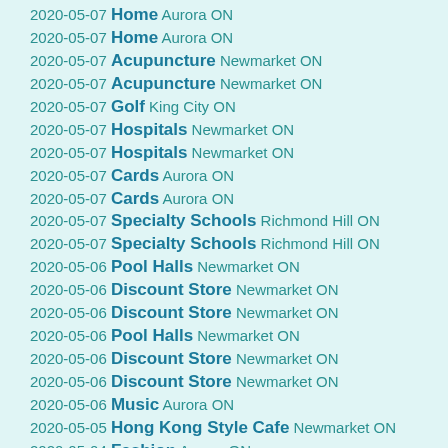2020-05-07 Home Aurora ON
2020-05-07 Home Aurora ON
2020-05-07 Acupuncture Newmarket ON
2020-05-07 Acupuncture Newmarket ON
2020-05-07 Golf King City ON
2020-05-07 Hospitals Newmarket ON
2020-05-07 Hospitals Newmarket ON
2020-05-07 Cards Aurora ON
2020-05-07 Cards Aurora ON
2020-05-07 Specialty Schools Richmond Hill ON
2020-05-07 Specialty Schools Richmond Hill ON
2020-05-06 Pool Halls Newmarket ON
2020-05-06 Discount Store Newmarket ON
2020-05-06 Discount Store Newmarket ON
2020-05-06 Pool Halls Newmarket ON
2020-05-06 Discount Store Newmarket ON
2020-05-06 Discount Store Newmarket ON
2020-05-06 Music Aurora ON
2020-05-05 Hong Kong Style Cafe Newmarket ON
2020-05-04 Fashion Aurora ON
2020-05-04 Beer Bar Aurora ON
2020-05-04 Mens Clothing Aurora ON
2020-05-04 Leather Goods Aurora ON